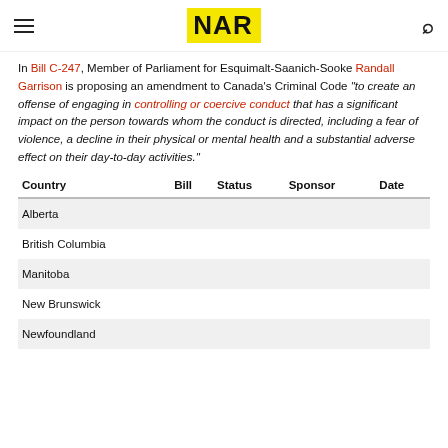NAR
In Bill C-247, Member of Parliament for Esquimalt-Saanich-Sooke Randall Garrison is proposing an amendment to Canada's Criminal Code “to create an offense of engaging in controlling or coercive conduct that has a significant impact on the person towards whom the conduct is directed, including a fear of violence, a decline in their physical or mental health and a substantial adverse effect on their day-to-day activities.”
| Country | Bill | Status | Sponsor | Date |
| --- | --- | --- | --- | --- |
| Alberta |  |  |  |  |
| British Columbia |  |  |  |  |
| Manitoba |  |  |  |  |
| New Brunswick |  |  |  |  |
| Newfoundland |  |  |  |  |